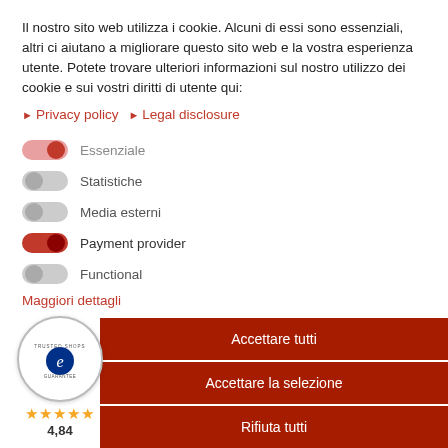Il nostro sito web utilizza i cookie. Alcuni di essi sono essenziali, altri ci aiutano a migliorare questo sito web e la vostra esperienza utente. Potete trovare ulteriori informazioni sul nostro utilizzo dei cookie e sui vostri diritti di utente qui:
▶ Privacy policy  ▶ Legal disclosure
Essenziale (toggle on, pink)
Statistiche (toggle off)
Media esterni (toggle off)
Payment provider (toggle on, red)
Functional (toggle off)
Maggiori dettagli
[Figure (logo): Trusted Shops Guarantee badge with gold stars rating 4,84]
Accettare tutti
Accettare la selezione
Rifiuta tutti